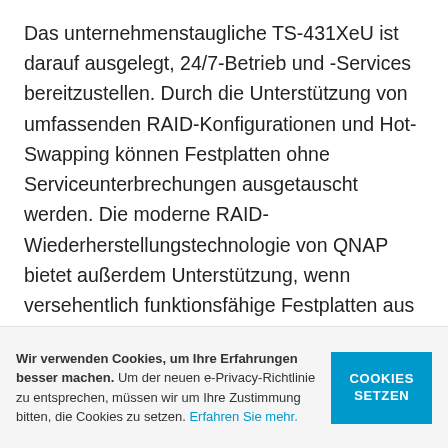Das unternehmenstaugliche TS-431XeU ist darauf ausgelegt, 24/7-Betrieb und -Services bereitzustellen. Durch die Unterstützung von umfassenden RAID-Konfigurationen und Hot-Swapping können Festplatten ohne Serviceunterbrechungen ausgetauscht werden. Die moderne RAID-Wiederherstellungstechnologie von QNAP bietet außerdem Unterstützung, wenn versehentlich funktionsfähige Festplatten aus einem beschädigten RAID-Volume entfernt werden. Das System kann durch Wiedereinsetzen der fälschlicherweise entfernten Festplatten wiederhergestellt werden; damit bleiben die Daten
Wir verwenden Cookies, um Ihre Erfahrungen besser machen. Um der neuen e-Privacy-Richtlinie zu entsprechen, müssen wir um Ihre Zustimmung bitten, die Cookies zu setzen. Erfahren Sie mehr.